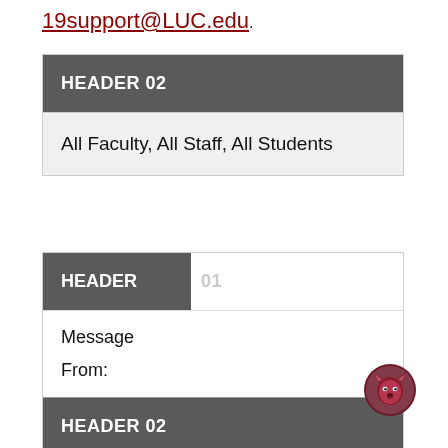19support@LUC.edu.
HEADER 02
All Faculty, All Staff, All Students
HEADER 01
Message
From:
HEADER 02
[Figure (logo): Loyola University Chicago wolf mascot logo in a dark red circle]